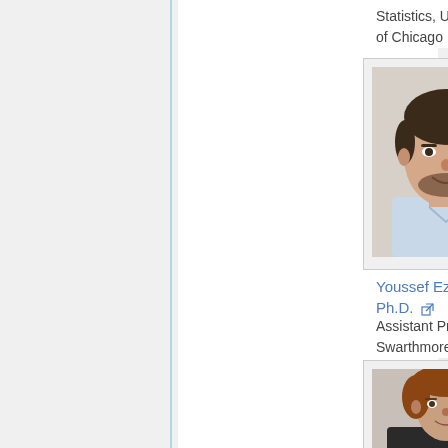Statistics, University of Chicago
[Figure (photo): Headshot photo of a young man with dark hair and beard, wearing a light blue shirt, smiling]
Youssef Ezzyat, Ph.D.
Assistant Professor, Swarthmore College
[Figure (photo): Headshot photo of a woman with curly auburn hair, wearing a dark blazer, smiling]